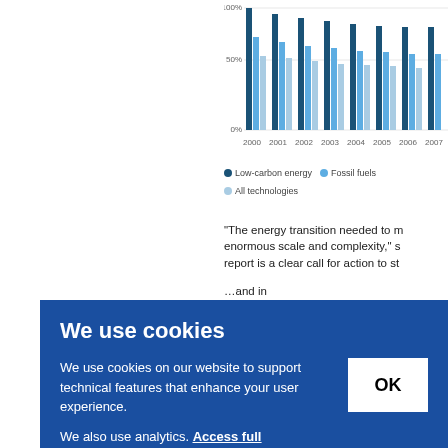[Figure (bar-chart): Share of patent families by technology]
"The energy transition needed to meet climate goals is of enormous scale and complexity," said... report is a clear call for action to step up... and in... untrie... hlight... me o... duction... yet c... eaps... n lim... eport
We use cookies
We use cookies on our website to support technical features that enhance your user experience. We also use analytics. Access full information on cookies that we use and how to manage them